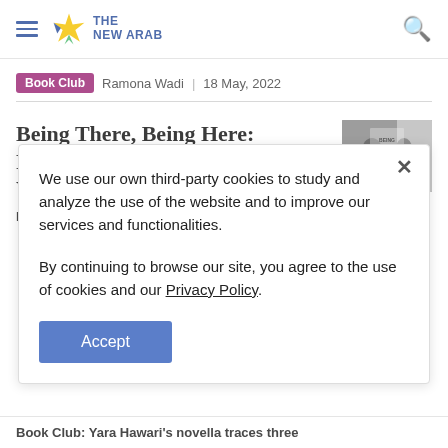THE NEW ARAB
Book Club  Ramona Wadi  |  18 May, 2022
Being There, Being Here: Palestinian Writings in the World
Book Club: Through a multi-lingual analysis of
We use our own third-party cookies to study and analyze the use of the website and to improve our services and functionalities.

By continuing to browse our site, you agree to the use of cookies and our Privacy Policy.
Accept
Book Club: Yara Hawari's novella traces three